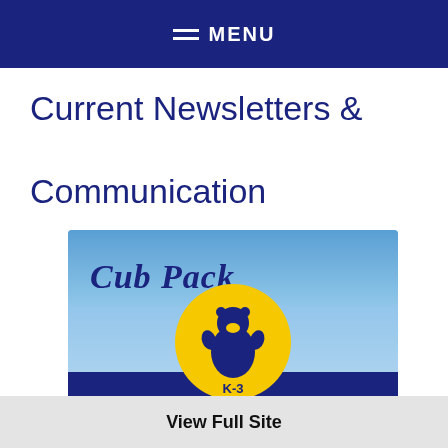MENU
Current Newsletters & Communication
[Figure (illustration): Cub Pack Weekly Newsletter image with a bear cub logo on a yellow circle, K-3 label, blue sky background, and text 'Cub Pack' and 'Weekly Newsletter']
View Full Site